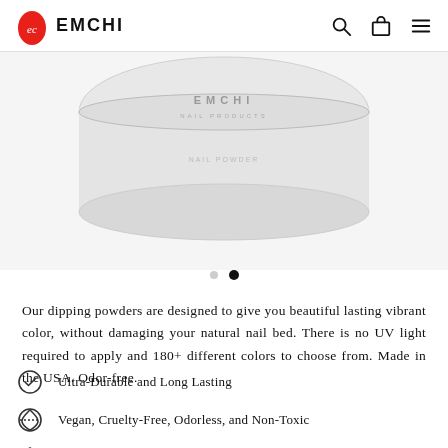EMCHI
[Figure (photo): Top-down view of an EMCHI nail products dipping powder container on white background, showing the lid with EMCHI NAIL PRODUCTS branding.]
Our dipping powders are designed to give you beautiful lasting vibrant color, without damaging your natural nail bed. There is no UV light required to apply and 180+ different colors to choose from. Made in the USA. Odor-free.
Ultra-Durable and Long Lasting
Vegan, Cruelty-Free, Odorless, and Non-Toxic
Made in the USA